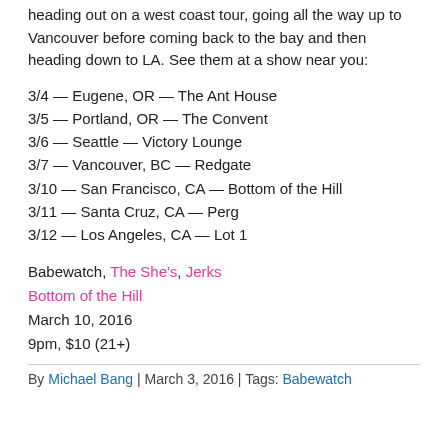heading out on a west coast tour, going all the way up to Vancouver before coming back to the bay and then heading down to LA. See them at a show near you:
3/4 — Eugene, OR — The Ant House
3/5 — Portland, OR — The Convent
3/6 — Seattle — Victory Lounge
3/7 — Vancouver, BC — Redgate
3/10 — San Francisco, CA — Bottom of the Hill
3/11 — Santa Cruz, CA — Perg
3/12 — Los Angeles, CA — Lot 1
Babewatch, The She's, Jerks
Bottom of the Hill
March 10, 2016
9pm, $10 (21+)
By Michael Bang | March 3, 2016 | Tags: Babewatch